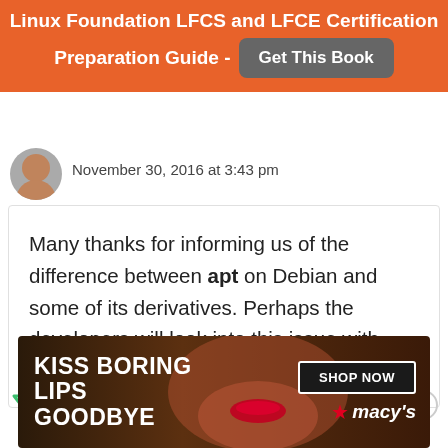Linux Foundation LFCS and LFCE Certification Preparation Guide - Get This Book
November 30, 2016 at 3:43 pm
Many thanks for informing us of the difference between apt on Debian and some of its derivatives. Perhaps the developers will look into this issue with great concern to improve user experience.
[Figure (infographic): Advertisement banner: KISS BORING LIPS GOODBYE with SHOP NOW button and macy's logo]
KISS BORING LIPS GOODBYE SHOP NOW macy's